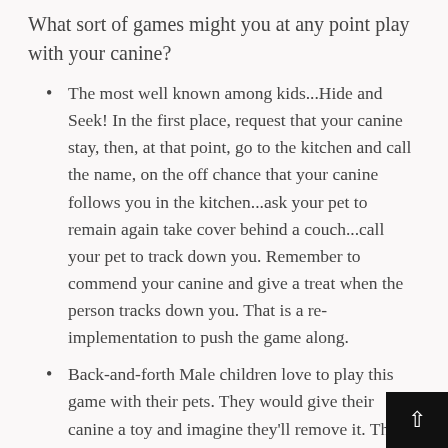What sort of games might you at any point play with your canine?
The most well known among kids...Hide and Seek! In the first place, request that your canine stay, then, at that point, go to the kitchen and call the name, on the off chance that your canine follows you in the kitchen...ask your pet to remain again take cover behind a couch...call your pet to track down you. Remember to commend your canine and give a treat when the person tracks down you. That is a re-implementation to push the game along.
Back-and-forth Male children love to play this game with their pets. They would give their canine a toy and imagine they'll remove it. The canine moves genuine rapidly, gets the toy and clutch it while lord is pulling. Kids do this more than once until they